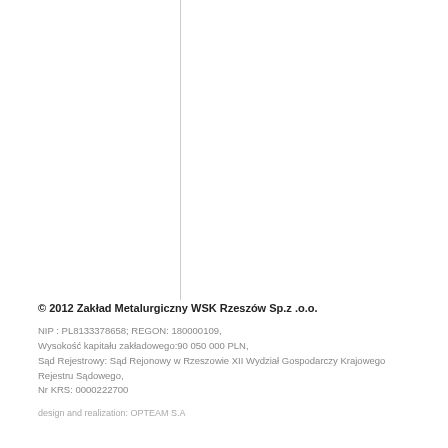© 2012 Zakład Metalurgiczny WSK Rzeszów Sp.z .o.o.
NIP : PL8133378658; REGON: 180000109,
Wysokość kapitału zakładowego:90 050 000 PLN,
Sąd Rejestrowy: Sąd Rejonowy w Rzeszowie XII Wydział Gospodarczy Krajowego Rejestru Sądowego,
Nr KRS: 0000222700
design and realization: OPTEAM S.A